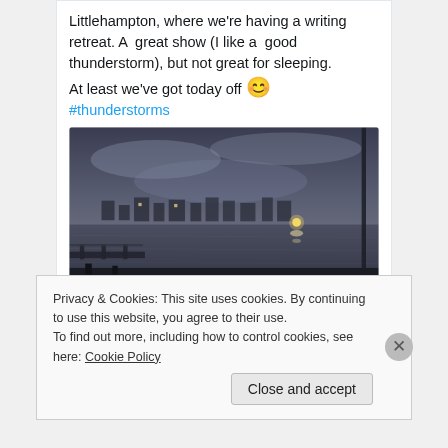Littlehampton, where we're having a writing retreat. A great show (I like a  good thunderstorm), but not great for sleeping.
At least we've got today off 😊
#thunderstorms
[Figure (photo): Dark nighttime photo of a harbour/marina with water, boats, and distant lights visible under a stormy sky]
1  11
Privacy & Cookies: This site uses cookies. By continuing to use this website, you agree to their use.
To find out more, including how to control cookies, see here: Cookie Policy
Close and accept